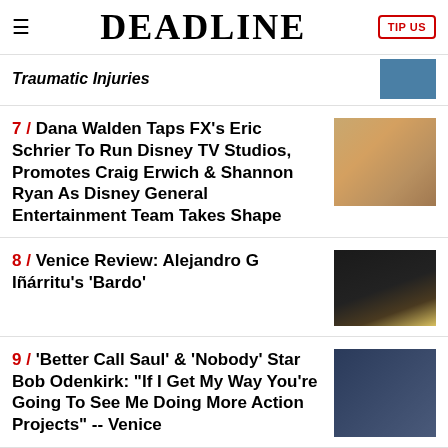DEADLINE
Traumatic Injuries
7 / Dana Walden Taps FX's Eric Schrier To Run Disney TV Studios, Promotes Craig Erwich & Shannon Ryan As Disney General Entertainment Team Takes Shape
8 / Venice Review: Alejandro G Iñárritu's 'Bardo'
9 / 'Better Call Saul' & 'Nobody' Star Bob Odenkirk: "If I Get My Way You're Going To See Me Doing More Action Projects" -- Venice